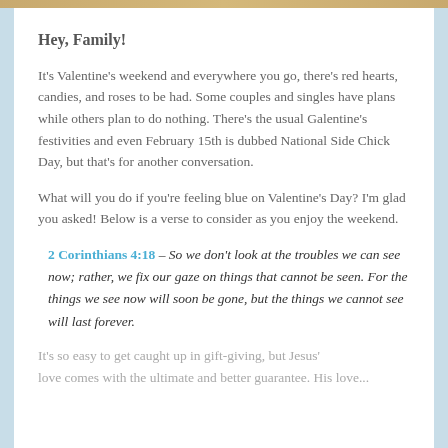Hey, Family!
It's Valentine's weekend and everywhere you go, there's red hearts, candies, and roses to be had. Some couples and singles have plans while others plan to do nothing. There's the usual Galentine's festivities and even February 15th is dubbed National Side Chick Day, but that's for another conversation.
What will you do if you're feeling blue on Valentine's Day? I'm glad you asked! Below is a verse to consider as you enjoy the weekend.
2 Corinthians 4:18 – So we don't look at the troubles we can see now; rather, we fix our gaze on things that cannot be seen. For the things we see now will soon be gone, but the things we cannot see will last forever.
It's so easy to get caught up in gift-giving, but Jesus' love comes with the ultimate and better guarantee. His love...